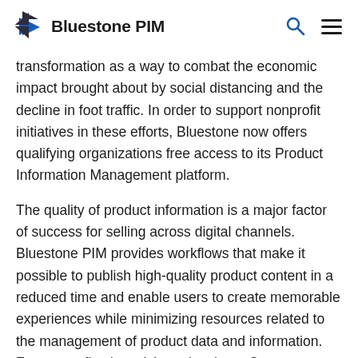Bluestone PIM
transformation as a way to combat the economic impact brought about by social distancing and the decline in foot traffic. In order to support nonprofit initiatives in these efforts, Bluestone now offers qualifying organizations free access to its Product Information Management platform.
The quality of product information is a major factor of success for selling across digital channels. Bluestone PIM provides workflows that make it possible to publish high-quality product content in a reduced time and enable users to create memorable experiences while minimizing resources related to the management of product data and information. For nonprofits that wish to pivot into eCommerce or